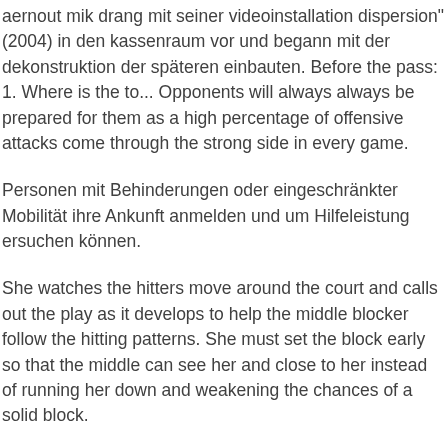aernout mik drang mit seiner videoinstallation dispersion" (2004) in den kassenraum vor und begann mit der dekonstruktion der späteren einbauten. Before the pass: 1. Where is the to... Opponents will always always be prepared for them as a high percentage of offensive attacks come through the strong side in every game.
Personen mit Behinderungen oder eingeschränkter Mobilität ihre Ankunft anmelden und um Hilfeleistung ersuchen können.
She watches the hitters move around the court and calls out the play as it develops to help the middle blocker follow the hitting patterns. She must set the block early so that the middle can see her and close to her instead of running her down and weakening the chances of a solid block.